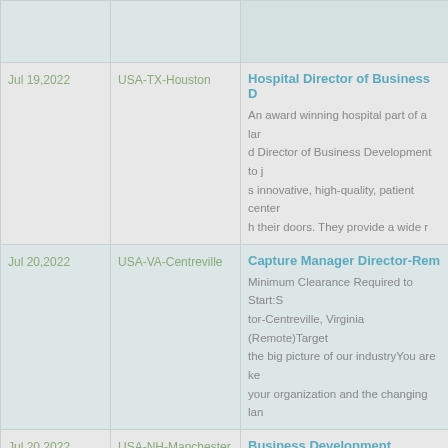| Date | Location | Job |
| --- | --- | --- |
|  |  |  |
| Jul 19,2022 | USA-TX-Houston | Hospital Director of Business D...
An award winning hospital part of a larg d Director of Business Development to j s innovative, high-quality, patient center h their doors. They provide a wide r |
| Jul 20,2022 | USA-VA-Centreville | Capture Manager Director-Rem...
Minimum Clearance Required to Start:S tor-Centreville, Virginia (Remote)Target the big picture of our industryYou are ke your organization and the changing lan |
| Jul 20,2022 | USA-NH-Manchester | Business Development Manage...
Business Development Manager £35,000 - £40,000 Uncapped Commiss stry Training Company Car Based in Manchester - Commutable fro Are you looking to join a rapidly expand ehensive |